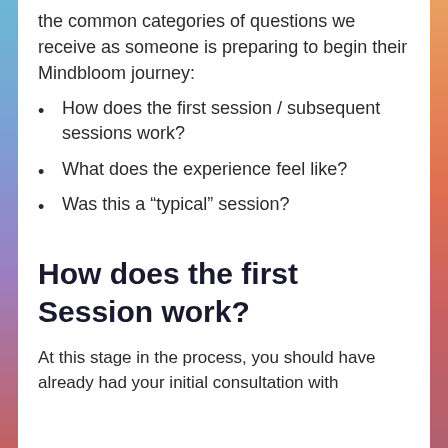the common categories of questions we receive as someone is preparing to begin their Mindbloom journey:
How does the first session / subsequent sessions work?
What does the experience feel like?
Was this a “typical” session?
How does the first Session work?
At this stage in the process, you should have already had your initial consultation with